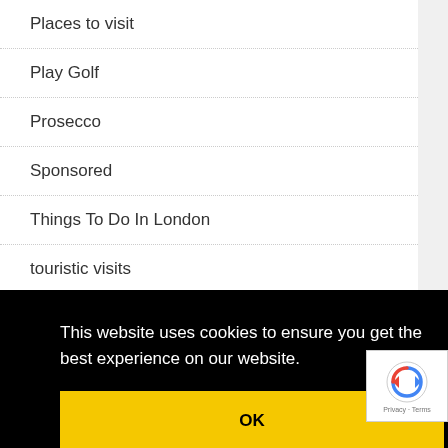Places to visit
Play Golf
Prosecco
Sponsored
Things To Do In London
touristic visits
This website uses cookies to ensure you get the best experience on our website.
OK
water sports